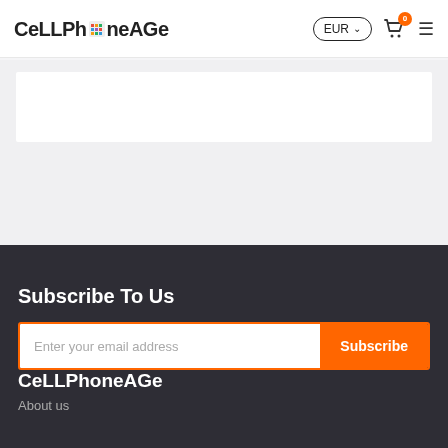CeLLPhoneAGe | EUR | 0 items in cart
Subscribe To Us
Enter your email address
Subscribe
CeLLPhoneAGe
About us